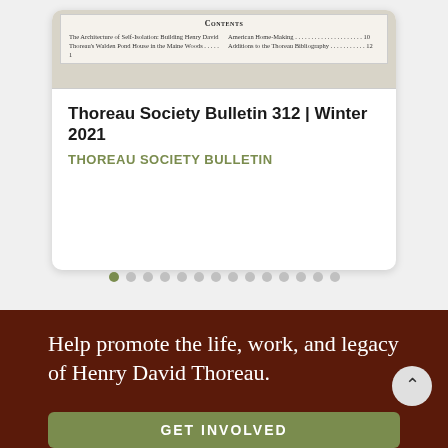[Figure (screenshot): Card showing table of contents for Thoreau Society Bulletin with two columns of article titles]
Thoreau Society Bulletin 312 | Winter 2021
THOREAU SOCIETY BULLETIN
Help promote the life, work, and legacy of Henry David Thoreau.
GET INVOLVED